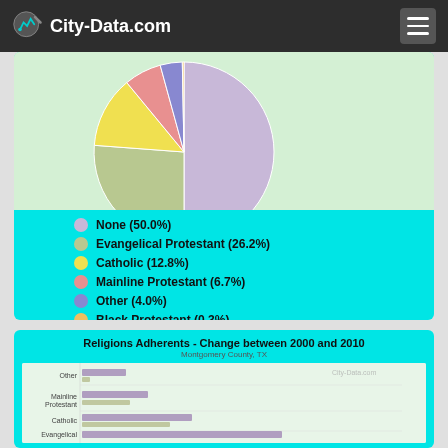City-Data.com
[Figure (pie-chart): Religions Adherents]
None (50.0%)
Evangelical Protestant (26.2%)
Catholic (12.8%)
Mainline Protestant (6.7%)
Other (4.0%)
Black Protestant (0.3%)
[Figure (bar-chart): Religions Adherents - Change between 2000 and 2010]